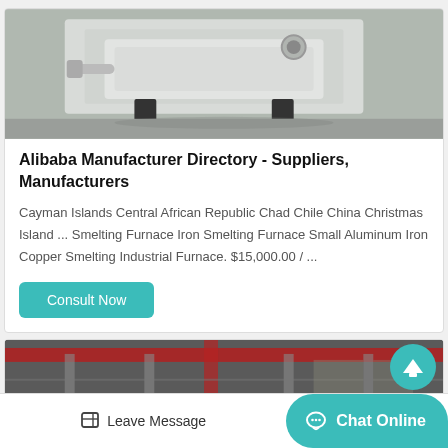[Figure (photo): Industrial white metal smelting furnace or machine on a factory floor, viewed from an elevated angle.]
Alibaba Manufacturer Directory - Suppliers, Manufacturers
Cayman Islands Central African Republic Chad Chile China Christmas Island ... Smelting Furnace Iron Smelting Furnace Small Aluminum Iron Copper Smelting Industrial Furnace. $15,000.00 / ...
Consult Now
[Figure (photo): Interior of a large industrial factory or smelting plant with red overhead crane structures and metal scaffolding.]
Leave Message
Chat Online